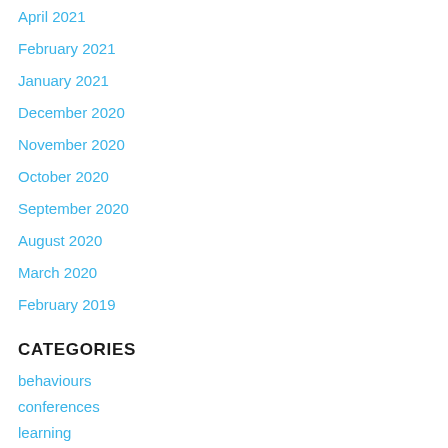April 2021
February 2021
January 2021
December 2020
November 2020
October 2020
September 2020
August 2020
March 2020
February 2019
CATEGORIES
behaviours
conferences
learning
mongodb
process